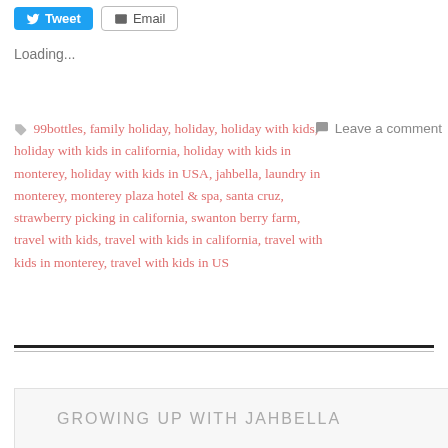[Figure (other): Twitter Tweet button (blue rounded) and Email button (white outlined)]
Loading...
99bottles, family holiday, holiday, holiday with kids, holiday with kids in california, holiday with kids in monterey, holiday with kids in USA, jahbella, laundry in monterey, monterey plaza hotel & spa, santa cruz, strawberry picking in california, swanton berry farm, travel with kids, travel with kids in california, travel with kids in monterey, travel with kids in US
Leave a comment
GROWING UP WITH JAHBELLA